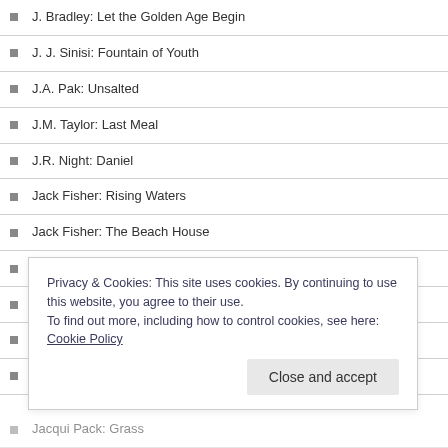J. Bradley: Let the Golden Age Begin
J. J. Sinisi: Fountain of Youth
J.A. Pak: Unsalted
J.M. Taylor: Last Meal
J.R. Night: Daniel
Jack Fisher: Rising Waters
Jack Fisher: The Beach House
Jack Fisher: The Camp
Jack Fisher: The Match
Jack Larkham: Room 29
Jack Somers: Sam at Thirty-Seven
Jacqui Pack: Grass
Privacy & Cookies: This site uses cookies. By continuing to use this website, you agree to their use. To find out more, including how to control cookies, see here: Cookie Policy